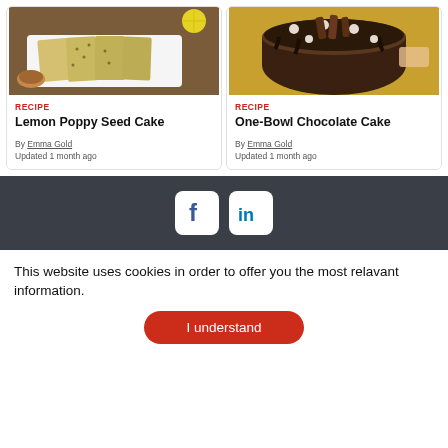[Figure (photo): Photo of sliced lemon poppy seed cake on a white plate with tea cup]
RECIPE
Lemon Poppy Seed Cake
By Emma Gold
Updated 1 month ago
[Figure (photo): Photo of chocolate cake with chocolate frosting and decorations]
RECIPE
One-Bowl Chocolate Cake
By Emma Gold
Updated 1 month ago
[Figure (infographic): Dark footer with Facebook and LinkedIn social media buttons]
This website uses cookies in order to offer you the most relavant information.
I understand